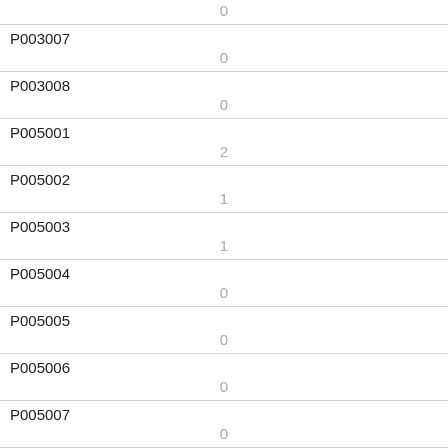| ID | Value |
| --- | --- |
| (partial) | 0 |
| P003007 | 0 |
| P003008 | 0 |
| P005001 | 2 |
| P005002 | 1 |
| P005003 | 1 |
| P005004 | 0 |
| P005005 | 0 |
| P005006 | 0 |
| P005007 | 0 |
| P005008 | 0 |